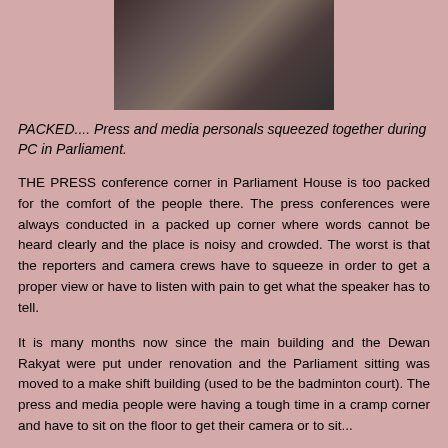[Figure (photo): Overhead view of press and media personnel crowded together at a press conference in Parliament]
PACKED.... Press and media personals squeezed together during PC in Parliament.
THE PRESS conference corner in Parliament House is too packed for the comfort of the people there. The press conferences were always conducted in a packed up corner where words cannot be heard clearly and the place is noisy and crowded. The worst is that the reporters and camera crews have to squeeze in order to get a proper view or have to listen with pain to get what the speaker has to tell.
It is many months now since the main building and the Dewan Rakyat were put under renovation and the Parliament sitting was moved to a make shift building (used to be the badminton court). The press and media people were having a tough time in a cramp corner and have to sit on the floor to get their camera or to sit...